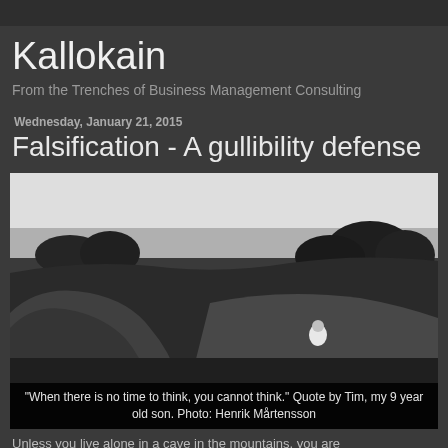Kallokain
From the Trenches of Business Management Consulting
Wednesday, January 21, 2015
Falsification - A gullibility defense
[Figure (photo): Black and white landscape photo of a grassy park area with curved earthwork mounds and a person sitting on the slope, trees in the background]
"When there is no time to think, you cannot think." Quote by Tim, my 9 year old son. Photo: Henrik Mårtensson
Unless you live alone in a cave in the mountains, you are